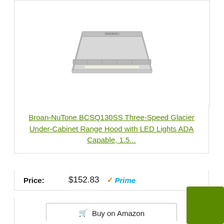[Figure (photo): Broan-NuTone range hood product photo — stainless steel under-cabinet range hood viewed from front-angle perspective]
Broan-NuTone BCSQ130SS Three-Speed Glacier Under-Cabinet Range Hood with LED Lights ADA Capable, 1.5...
Price: $152.83 Prime
Buy on Amazon
Bestseller No. 3